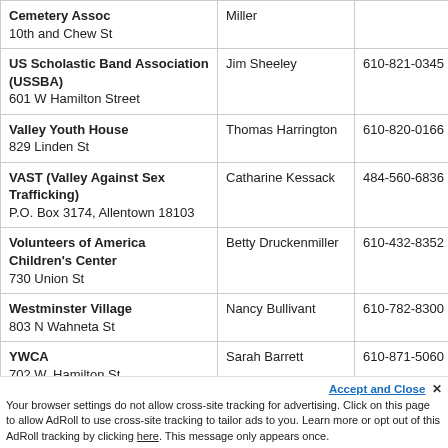| Organization / Address | Contact | Phone |
| --- | --- | --- |
| Cemetery Assoc
10th and Chew St | Miller |  |
| US Scholastic Band Association (USSBA)
601 W Hamilton Street | Jim Sheeley | 610-821-0345 ext 113 |
| Valley Youth House
829 Linden St | Thomas Harrington | 610-820-0166 |
| VAST (Valley Against Sex Trafficking)
P.O. Box 3174, Allentown 18103 | Catharine Kessack | 484-560-6836 |
| Volunteers of America Children's Center
730 Union St | Betty Druckenmiller | 610-432-8352 |
| Westminster Village
803 N Wahneta St | Nancy Bullivant | 610-782-8300 |
| YWCA
702 W. Hamilton St. | Sarah Barrett | 610-871-5060 |
Accept and Close ✕
Your browser settings do not allow cross-site tracking for advertising. Click on this page to allow AdRoll to use cross-site tracking to tailor ads to you. Learn more or opt out of this AdRoll tracking by clicking here. This message only appears once.